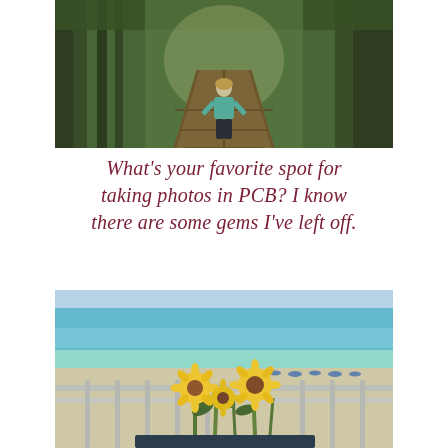[Figure (photo): A woman in a teal shirt walks along a wooden boardwalk path through a lush green forest with tall trees on either side.]
What's your favorite spot for taking photos in PCB? I know there are some gems I've left off.
[Figure (photo): View from a balcony overlooking a beach with turquoise water, sandy shore, blue beach umbrellas, and sunflowers in the foreground on a table.]